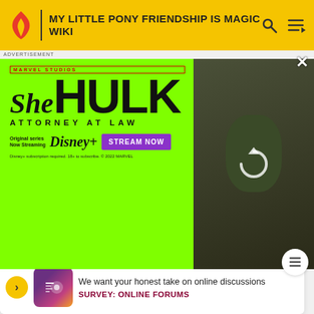MY LITTLE PONY FRIENDSHIP IS MAGIC WIKI
[Figure (screenshot): She-Hulk Attorney at Law advertisement banner on green background with Marvel Studios branding, Disney+ streaming promotion and actress photo]
Stay up to date on your fandom with carefully curated and timely Fandom newsletters.
Email Address
SIGN UP
We want your honest take on online discussions
SURVEY: ONLINE FORUMS